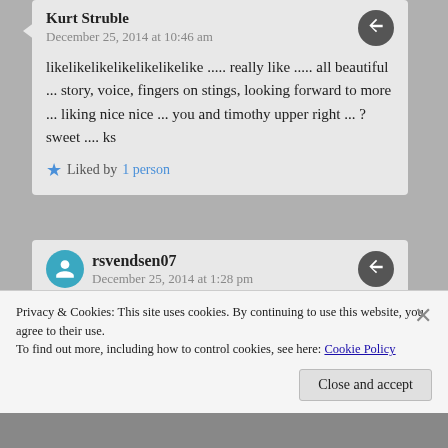Kurt Struble
December 25, 2014 at 10:46 am
likelikelikelikelikelikelike ..... really like ..... all beautiful ... story, voice, fingers on stings, looking forward to more ... liking nice nice ... you and timothy upper right ... ? sweet .... ks
Liked by 1 person
rsvendsen07
December 25, 2014 at 1:28 pm
Thank you so much. ❤
Privacy & Cookies: This site uses cookies. By continuing to use this website, you agree to their use.
To find out more, including how to control cookies, see here: Cookie Policy
Close and accept